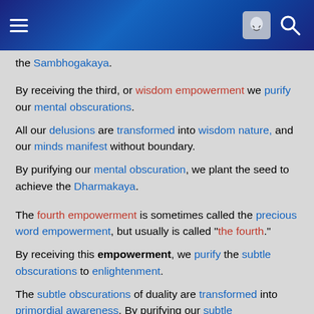[Navigation header with hamburger menu, face icon, and search icon]
the Sambhogakaya.
By receiving the third, or wisdom empowerment we purify our mental obscurations.
All our delusions are transformed into wisdom nature, and our minds manifest without boundary.
By purifying our mental obscuration, we plant the seed to achieve the Dharmakaya.
The fourth empowerment is sometimes called the precious word empowerment, but usually is called "the fourth."
By receiving this empowerment, we purify the subtle obscurations to enlightenment.
The subtle obscurations of duality are transformed into primordial awareness. By purifying our subtle obscurations, we plant the seed to achieve the Svabhavikakaya.
These four initiations are usually associated with the highest of the